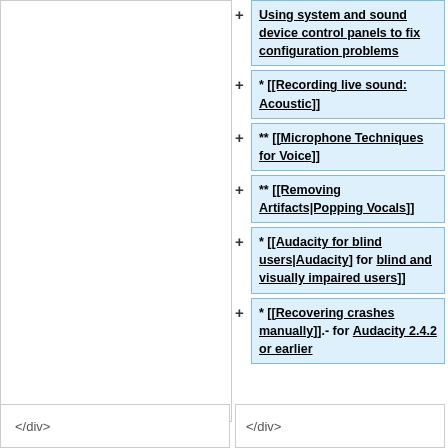+ Using system and sound device control panels to fix configuration problems
+ * [[Recording live sound: Acoustic]]
+ ** [[Microphone Techniques for Voice]]
+ ** [[Removing Artifacts|Popping Vocals]]
+ * [[Audacity for blind users|Audacity for blind and visually impaired users]]
+ * [[Recovering crashes manually]] - for Audacity 2.4.2 or earlier
</div>
</div>